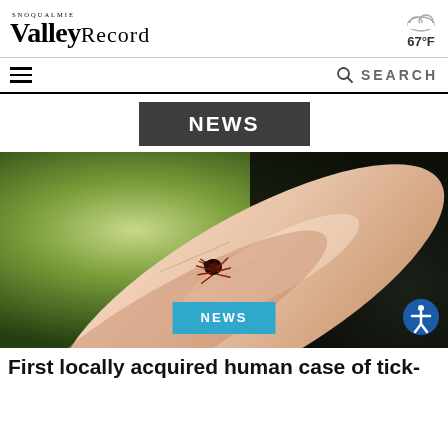Snoqualmie Valley Record — 67°F
SEARCH
NEWS
[Figure (photo): Close-up macro photo of a tick on a human fingertip, with green blurred background]
NEWS
First locally acquired human case of tick-